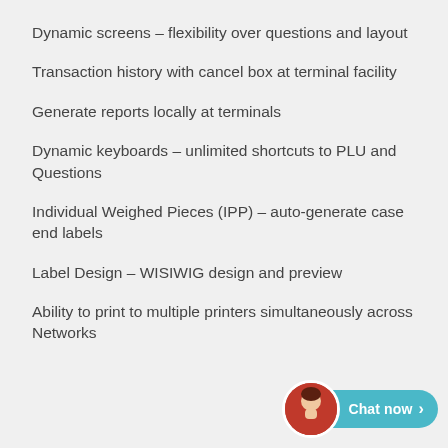Dynamic screens – flexibility over questions and layout
Transaction history with cancel box at terminal facility
Generate reports locally at terminals
Dynamic keyboards – unlimited shortcuts to PLU and Questions
Individual Weighed Pieces (IPP) – auto-generate case end labels
Label Design – WISIWIG design and preview
Ability to print to multiple printers simultaneously across Networks